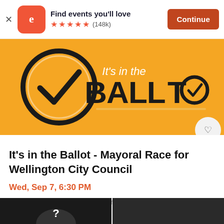[Figure (screenshot): Eventbrite app banner: logo icon, 'Find events you'll love' text, 5-star rating (148k reviews), and orange 'Continue' button]
[Figure (illustration): Orange background event banner with 'It's in the BALLOT' text and a circular checkmark logo. White heart/favorite button at bottom right.]
It's in the Ballot - Mayoral Race for Wellington City Council
Wed, Sep 7, 6:30 PM
Khandallah Town Hall & Cornerstone Communi...
$0 - $100
[Figure (photo): Two partial thumbnail images at the bottom of the page on a dark background]